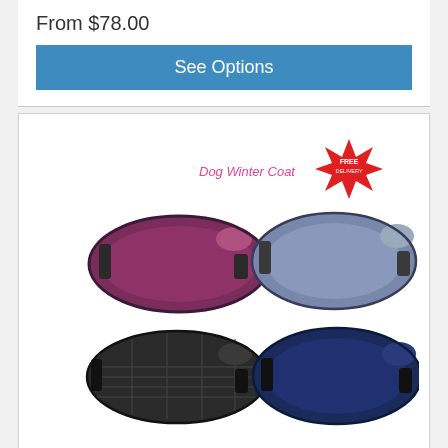From $78.00
See Options
[Figure (photo): Four dog winter coats shown: top-left is a burgundy/purple coat, top-right is a blue/grey coat, bottom-left is a black quilted coat, bottom-right is a navy blue coat. Text overlay reads 'Dog Winter Coat' in pink and a red starburst badge says 'FREE DELIVERY'.]
Lilcracka Touch Fastener no Neck 80cm